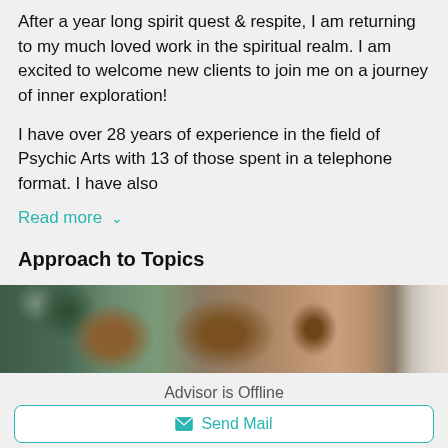After a year long spirit quest & respite, I am returning to my much loved work in the spiritual realm. I am excited to welcome new clients to join me on a journey of inner exploration!
I have over 28 years of experience in the field of Psychic Arts with 13 of those spent in a telephone format. I have also
Read more ∨
Approach to Topics
[Figure (photo): Close-up photo of reddish-brown hair with greenery/bokeh in background and a white edge on the right side]
Advisor is Offline
Send Mail